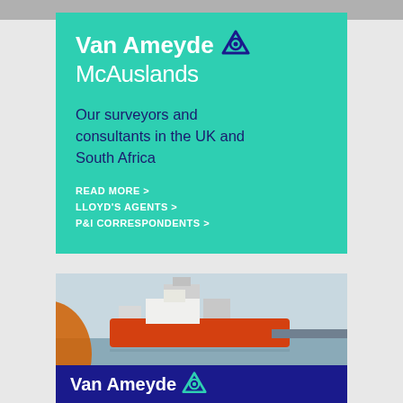[Figure (photo): Partial crop of a photo at the top of the page — grey/dark tones]
Van Ameyde McAuslands
Our surveyors and consultants in the UK and South Africa
READ MORE >
LLOYD'S AGENTS >
P&I CORRESPONDENTS >
[Figure (photo): Ship photo: an orange/red tanker vessel docked at a port with industrial buildings in the background, viewed from behind a curved orange foreground element]
Van Ameyde